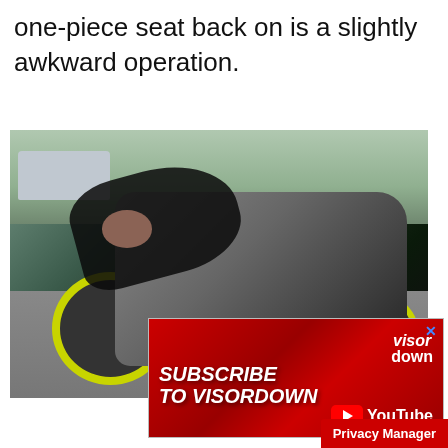one-piece seat back on is a slightly awkward operation.
[Figure (photo): A person leaning over a Yamaha MT-10 motorcycle in a parking lot, working on the seat. The motorcycle has distinctive yellow wheel accents. Another motorcycle is partially visible on the right.]
[Figure (infographic): Advertisement banner: 'SUBSCRIBE TO VISORDOWN' with VisorDown YouTube logo on red background with motorcyclist silhouette. Has a blue X close button in top right.]
Privacy Manager